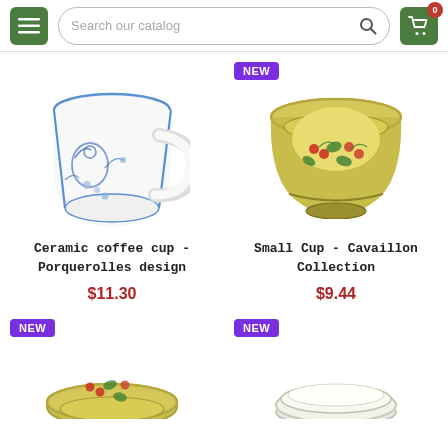Search our catalog | menu | cart (0)
[Figure (photo): Ceramic coffee cup with blue floral Porquerolles design on white background]
Ceramic coffee cup - Porquerolles design
$11.30
[Figure (photo): Small yellow ceramic bowl with red berry and green leaf Cavaillon Collection design, labeled NEW]
Small Cup - Cavaillon Collection
$9.44
[Figure (photo): Partial view of yellow ceramic bowl with floral design, labeled NEW]
[Figure (photo): Partial view of white ceramic bowl, labeled NEW]